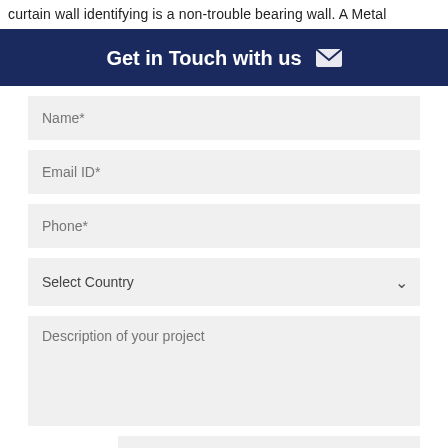curtain wall identifying is a non-trouble bearing wall. A Metal
Get in Touch with us ✉
[Figure (other): Contact form with fields: Name*, Email ID*, Phone*, Select Country dropdown, Description of your project textarea, 7+20 math captcha with Answer field, and SUBMIT button]